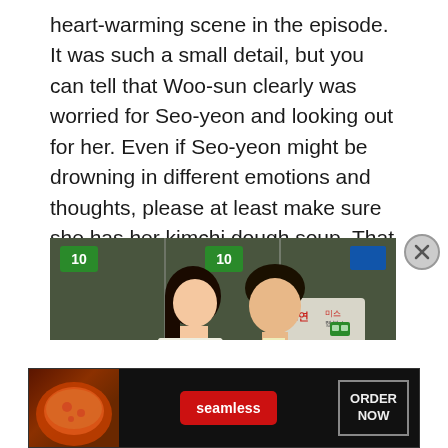heart-warming scene in the episode. It was such a small detail, but you can tell that Woo-sun clearly was worried for Seo-yeon and looking out for her. Even if Seo-yeon might be drowning in different emotions and thoughts, please at least make sure she has her kimchi dough soup. That will for sure cheer her up.
[Figure (photo): Two young people (a woman and a man) sitting at a bus stop. The woman has long dark hair and wears a white top with a pink plaid vest. The man wears a blue jacket. Korean text visible on a sign in the background.]
Advertisements
[Figure (photo): Seamless food delivery advertisement banner. Shows pizza on the left, a red 'seamless' logo button in the center, and an 'ORDER NOW' button on a dark background.]